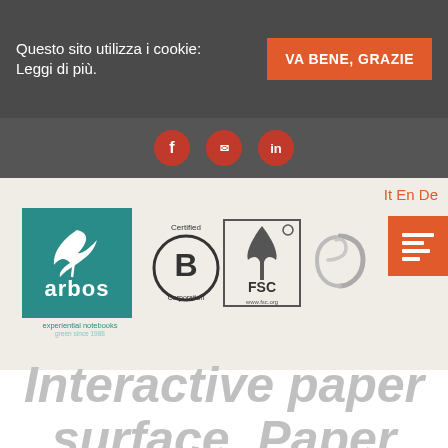Questo sito utilizza i cookie: Leggi di più.
VA BENE, GRAZIE
[Figure (logo): Arbos experiential notebooks logo with teal background and white leaf/fern icon]
[Figure (logo): Certified B Corporation logo]
[Figure (logo): FSC certification logo]
[Figure (logo): Circular eco certification logo]
It En De
Interactive paper surface, Paper and the territory